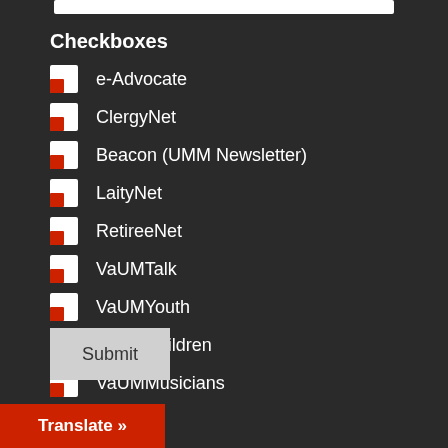Checkboxes
e-Advocate
ClergyNet
Beacon (UMM Newsletter)
LaityNet
RetireeNet
VaUMTalk
VaUMYouth
VaUMChildren
VaUMMusicians
Submit
Translate »